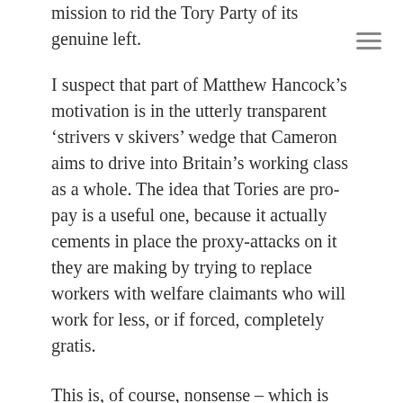mission to rid the Tory Party of its genuine left.
I suspect that part of Matthew Hancock’s motivation is in the utterly transparent ‘strivers v skivers’ wedge that Cameron aims to drive into Britain’s working class as a whole. The idea that Tories are pro-pay is a useful one, because it actually cements in place the proxy-attacks on it they are making by trying to replace workers with welfare claimants who will work for less, or if forced, completely gratis.
This is, of course, nonsense – which is exactly why it needs some diversionary rhetoric.
But secondly, maybe Hancock actually believes what he is writing?